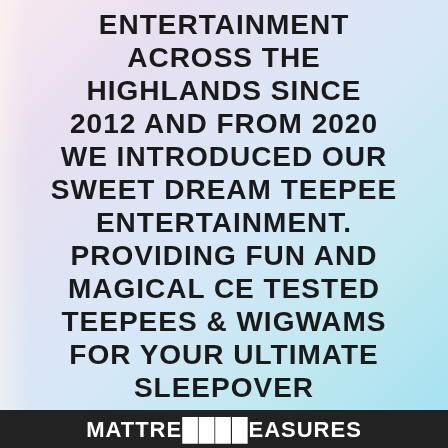ENTERTAINMENT ACROSS THE HIGHLANDS SINCE 2012 AND FROM 2020 WE INTRODUCED OUR SWEET DREAM TEEPEE ENTERTAINMENT. PROVIDING FUN AND MAGICAL CE TESTED TEEPEES & WIGWAMS FOR YOUR ULTIMATE SLEEPOVER EXPERIENCE.
EACH TEEPEE MEASURES 100CM WIDTH X 80CM LENGTH MATTRE...EASURES